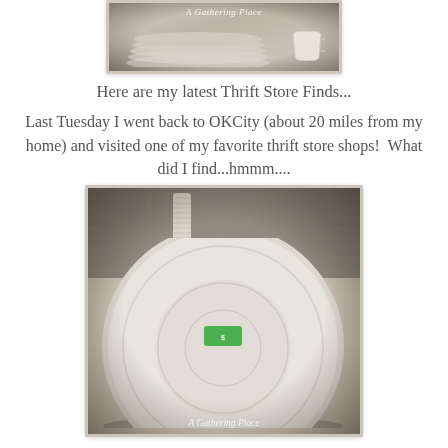[Figure (photo): Photo of stacked white dishes and a white cup, with 'A Gathering Place' watermark text at top]
Here are my latest Thrift Store Finds...
Last Tuesday I went back to OKCity (about 20 miles from my home) and visited one of my favorite thrift store shops!  What did I find...hmmm....
[Figure (photo): Photo of a white scalloped-edge plate with a green price sticker, sitting on burlap with measuring tape and other items in background, 'A Gathering Place' watermark at bottom]